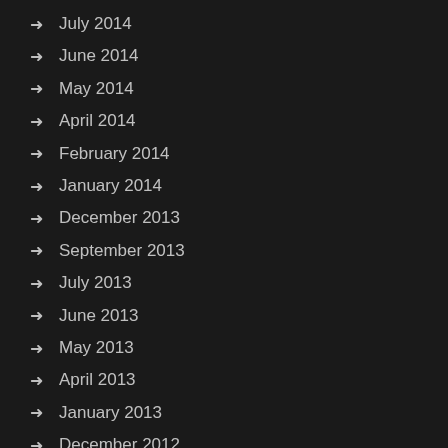July 2014
June 2014
May 2014
April 2014
February 2014
January 2014
December 2013
September 2013
July 2013
June 2013
May 2013
April 2013
January 2013
December 2012